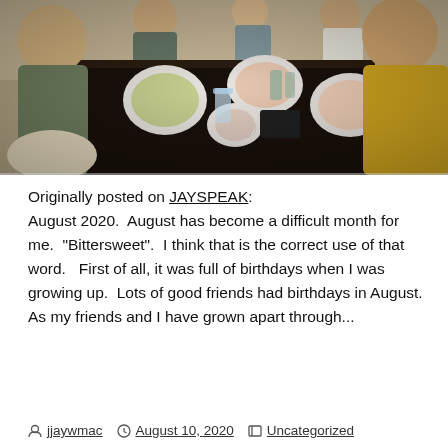[Figure (photo): Group of people sitting around a dark restaurant table with plates of food, glasses, and dishes. Person on left in gray-green shirt, person on right in yellow shirt.]
Originally posted on JAYSPEAK: August 2020.  August has become a difficult month for me.  "Bittersweet".  I think that is the correct use of that word.   First of all, it was full of birthdays when I was growing up.  Lots of good friends had birthdays in August.  As my friends and I have grown apart through...
jjaywmac   August 10, 2020   Uncategorized